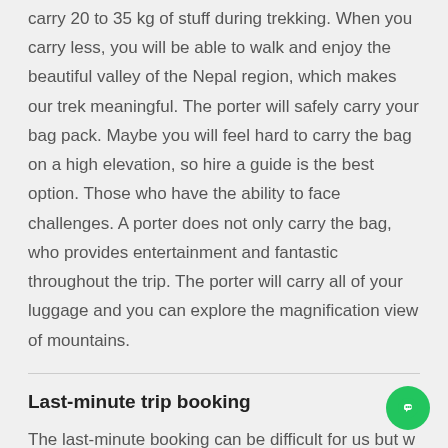carry 20 to 35 kg of stuff during trekking. When you carry less, you will be able to walk and enjoy the beautiful valley of the Nepal region, which makes our trek meaningful. The porter will safely carry your bag pack. Maybe you will feel hard to carry the bag on a high elevation, so hire a guide is the best option. Those who have the ability to face challenges. A porter does not only carry the bag, who provides entertainment and fantastic throughout the trip. The porter will carry all of your luggage and you can explore the magnification view of mountains.
Last-minute trip booking
The last-minute booking can be difficult for us but we accept, whatever reason Himalayan Frozen Adventure